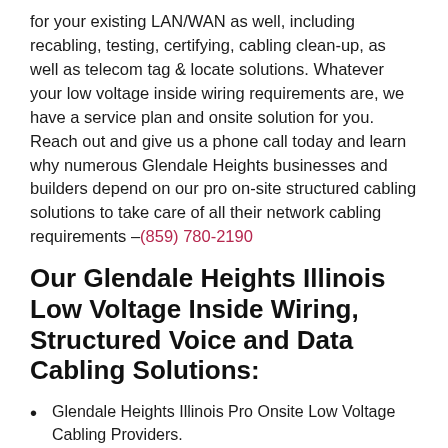for your existing LAN/WAN as well, including recabling, testing, certifying, cabling clean-up, as well as telecom tag & locate solutions. Whatever your low voltage inside wiring requirements are, we have a service plan and onsite solution for you. Reach out and give us a phone call today and learn why numerous Glendale Heights businesses and builders depend on our pro on-site structured cabling solutions to take care of all their network cabling requirements –(859) 780-2190
Our Glendale Heights Illinois Low Voltage Inside Wiring, Structured Voice and Data Cabling Solutions:
Glendale Heights Illinois Pro Onsite Low Voltage Cabling Providers.
Network & Telecom Installation & Repair Services.
B2B Voice and Data Cabling Solutions for SMB, Point of Sale, Retail POS.
Glendale Heights Illinois PBX & VoIP Installation Provider.